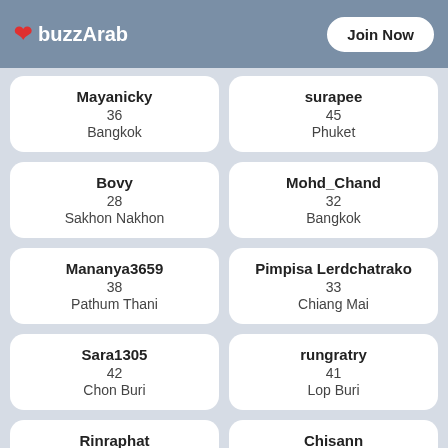buzzArab | Join Now
Mayanicky
36
Bangkok
surapee
45
Phuket
Bovy
28
Sakhon Nakhon
Mohd_Chand
32
Bangkok
Mananya3659
38
Pathum Thani
Pimpisa Lerdchatrako
33
Chiang Mai
Sara1305
42
Chon Buri
rungratry
41
Lop Buri
Rinraphat
40
Nakhon Ratchasima
Chisann
32
Chiang Mai